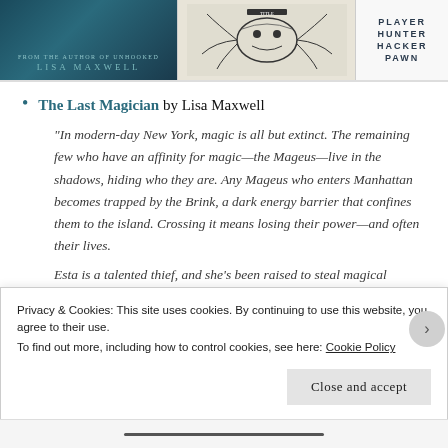[Figure (illustration): Top strip with three book cover images: first shows a dark teal book cover with author name 'LISA MAXWELL', second shows a black and white illustrated cover with tentacle/creature imagery, third shows a white cover with words PLAYER HUNTER HACKER PAWN stacked vertically]
The Last Magician by Lisa Maxwell
“In modern-day New York, magic is all but extinct. The remaining few who have an affinity for magic—the Mageus—live in the shadows, hiding who they are. Any Mageus who enters Manhattan becomes trapped by the Brink, a dark energy barrier that confines them to the island. Crossing it means losing their power—and often their lives.
Esta is a talented thief, and she’s been raised to steal magical artifacts from the sinister Order that created
Privacy & Cookies: This site uses cookies. By continuing to use this website, you agree to their use.
To find out more, including how to control cookies, see here: Cookie Policy
Close and accept